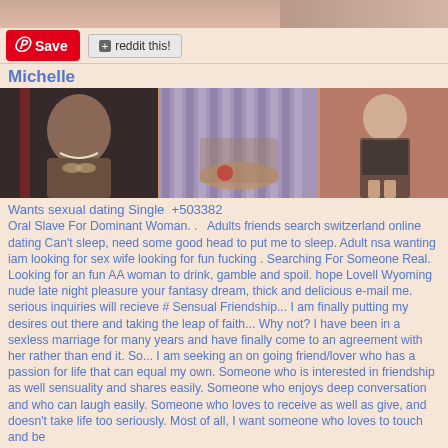[Figure (screenshot): Top partial image strip showing skin-toned background]
Save  reddit this!
Michelle
[Figure (photo): Three photos of a woman named Michelle]
Wants sexual dating Single  +503382
Oral Slave For Dominant Woman. .   Adults friends search switzerland online dating Can't sleep, need some good head to put me to sleep. Adult nsa wanting iam looking for sex wife looking for fun fucking . Searching For Someone Real. Looking for an fun AA woman to drink, gamble and spoil. hope Lovell Wyoming nude late night pleasure your fantasy dream, thick and delicious e-mail me. serious inquiries will recieve # Sensual Friendship... I am finally putting my desires out there and taking the leap of faith... Why not? I have been in a sexless marriage for many years and have finally come to an agreement with her rather than end it. So... I am seeking an on going friend/lover who has a passion for life that can equal my own. Someone who is interested in friendship as well sensuality and shares easily. Someone who enjoys deep conversation and who can laugh easily. Someone who loves to receive as well as give, and doesn't take life too seriously. Most of all, I want someone who loves to touch and be